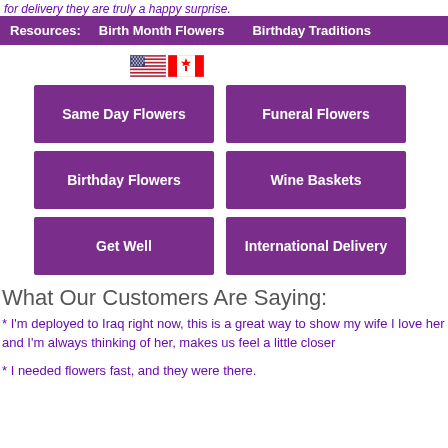for delivery they are truly a happy surprise.
Resources:  Birth Month Flowers  Birthday Traditions
[Figure (illustration): US flag and Canadian flag icons side by side]
Same Day Flowers
Funeral Flowers
Birthday Flowers
Wine Baskets
Get Well
International Delivery
What Our Customers Are Saying:
* I'm deployed to Iraq right now, this is a great way to show my wife I love her and I'm always thinking of her, makes us feel a little closer
* I needed flowers fast, and they were there.